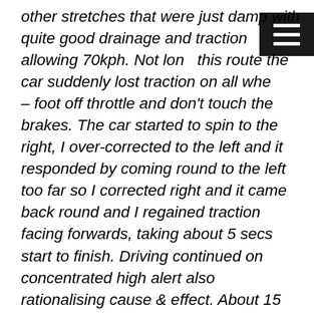other stretches that were just damp with quite good drainage and traction allowing 70kph. Not long this route the car suddenly lost traction on all wheels – foot off throttle and don't touch the brakes. The car started to spin to the right, I over-corrected to the left and it responded by coming round to the left too far so I corrected right and it came back round and I regained traction facing forwards, taking about 5 secs start to finish. Driving continued on concentrated high alert also rationalising cause & effect. About 15 minutes later exactly the same thing happened again, recovery being the same as before. Both occurrences were on a straight section just under 70km/h, from memory with a delicate touch on throttle movements on no sharp steering motions